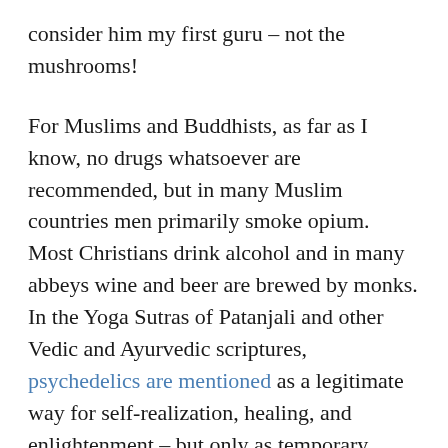consider him my first guru – not the mushrooms!
For Muslims and Buddhists, as far as I know, no drugs whatsoever are recommended, but in many Muslim countries men primarily smoke opium. Most Christians drink alcohol and in many abbeys wine and beer are brewed by monks. In the Yoga Sutras of Patanjali and other Vedic and Ayurvedic scriptures, psychedelics are mentioned as a legitimate way for self-realization, healing, and enlightenment – but only as temporary measures. I find this to be very true, but it is often misunderstood.
Mystics write sacred scriptures, but for uninitiated people it can be hard to correctly understand their true meaning. It is similar with psychedelics. People who have no experience with them won't